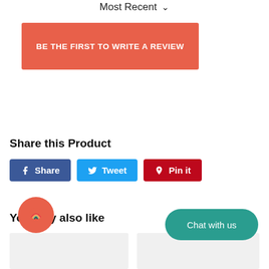Most Recent ∨
BE THE FIRST TO WRITE A REVIEW
Share this Product
Share
Tweet
Pin it
You also like
[Figure (other): Red circle button with rainbow icon (chat widget)]
Chat with us